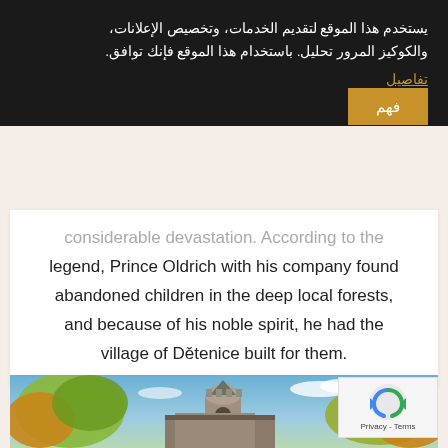يستخدم هذا الموقع لتقديم الخدمات، وتخصيص الإعلانات، والكوكيز المرور تحليل. باستخدام هذا الموقع فإنك توافق.
تفاصيل
فهم
considerable devastation. According to the legend, Prince Oldrich with his company found abandoned children in the deep local forests, and because of his noble spirit, he had the village of Dětenice built for them.
[Figure (photo): A castle or medieval tower with a round turret, set against a blue sky with trees and foliage in autumn colors.]